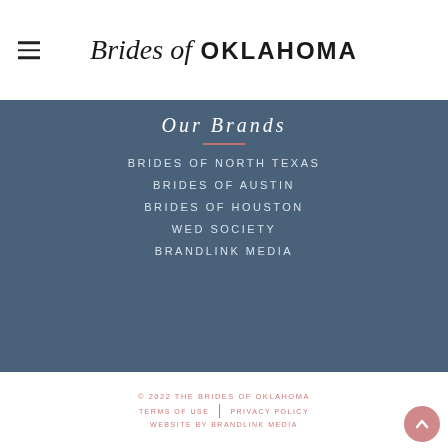Brides of OKLAHOMA
Our Brands
BRIDES OF NORTH TEXAS
BRIDES OF AUSTIN
BRIDES OF HOUSTON
WED SOCIETY
BRANDLINK MEDIA
© 2022 THE BRIDES OF OKLAHOMA  TERMS OF USE  |  PRIVACY POLICY  WEBSITE BY BRANDLINK MEDIA